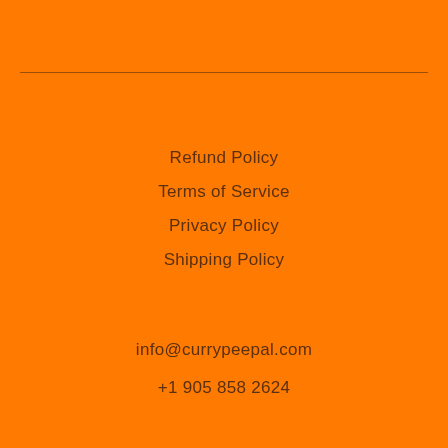Refund Policy
Terms of Service
Privacy Policy
Shipping Policy
info@currypeepal.com
+1 905 858 2624